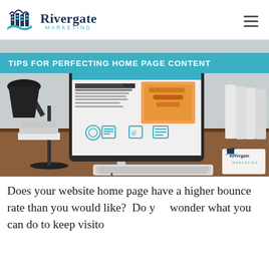[Figure (logo): Rivergate Marketing logo with bridge/buildings icon and teal wave]
TIPS FOR PERFECTING HOME PAGE CONTENT
[Figure (photo): Photo of a desktop computer on a wooden desk showing a Rivergate Marketing website, with keyboard, lamp, books, and binders in background. Rivergate Marketing watermark logo in bottom right corner.]
Does your website home page have a higher bounce rate than you would like? Do you wonder what you can do to keep visitors